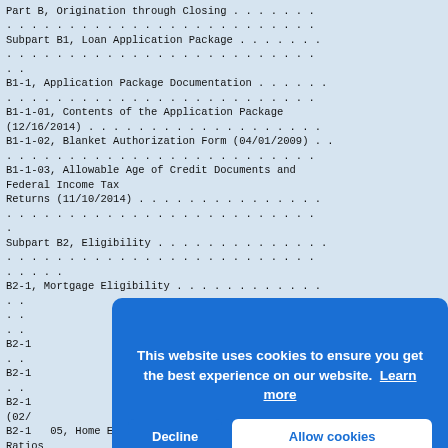Part B, Origination through Closing . . . . . . . . . . . . . . . . . . . . . . . . . . . .
Subpart B1, Loan Application Package . . . . . . . . . . . . . . . . . . . . . . . . . . .
B1-1, Application Package Documentation . . . . . . . . . . . . . . . . . . . . . . . . .
B1-1-01, Contents of the Application Package (12/16/2014) . . . . . . . . . . . . . . .
B1-1-02, Blanket Authorization Form (04/01/2009) . . . . . . . . . . . . . . . . . . .
B1-1-03, Allowable Age of Credit Documents and Federal Income Tax Returns (11/10/2014) . . . . . . . . . . . . . . . . . . . . . . . . .
Subpart B2, Eligibility . . . . . . . . . . . . . . . . . . . . . . . . . . . . . . . . .
B2-1, Mortgage Eligibility . . . . . . . . . . . . . . . . . . . . . . . . . . . . . . .
B2-1-...
B2-1-...
B2-1-...
B2-1- (02/...
B2-1-05, Home Equity Combined Loan-to-Value (HCLTV) Ratios
[Cookie banner overlay] This website uses cookies to ensure you get the best experience on our website. Learn more | Decline | Allow cookies